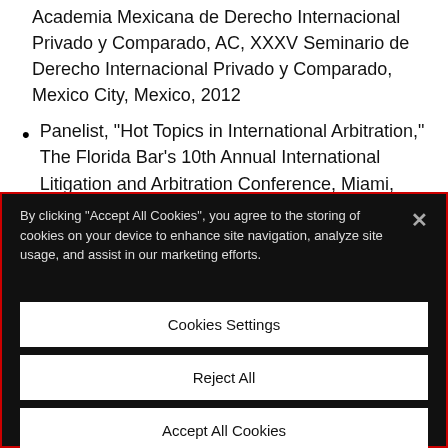Academia Mexicana de Derecho Internacional Privado y Comparado, AC, XXXV Seminario de Derecho Internacional Privado y Comparado, Mexico City, Mexico, 2012
Panelist, "Hot Topics in International Arbitration," The Florida Bar's 10th Annual International Litigation and Arbitration Conference, Miami, Florida, 2012
Speaker, "Accelerated Route to Fellowship
By clicking "Accept All Cookies", you agree to the storing of cookies on your device to enhance site navigation, analyze site usage, and assist in our marketing efforts.
Cookies Settings
Reject All
Accept All Cookies